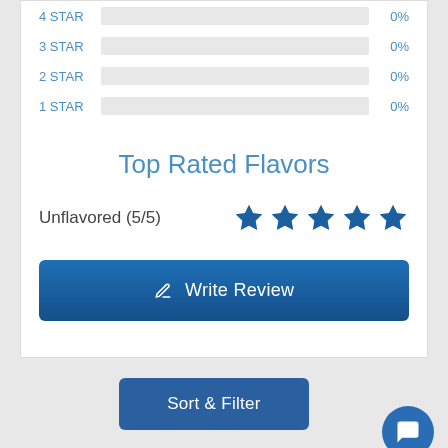[Figure (infographic): Star rating bars for 4 STAR, 3 STAR, 2 STAR, 1 STAR all showing 0%]
Top Rated Flavors
Unflavored (5/5) — 5 stars
[Figure (infographic): Write Review button with pencil icon]
[Figure (infographic): Sort & Filter button and chat bubble icon at bottom]